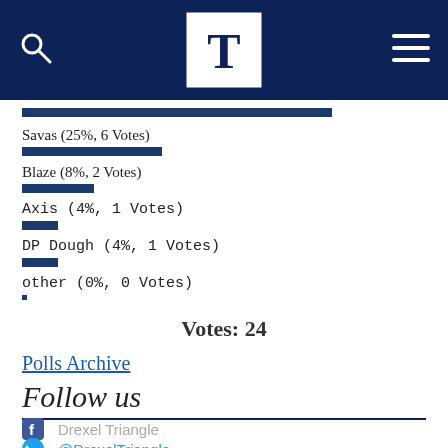[Figure (other): Website header with dark navy background, search icon on left, T logo in center white box, hamburger menu on right]
[Figure (bar-chart): Poll results]
Votes: 24
Polls Archive
Follow us
Drexel Triangle
@DrexelTriangle